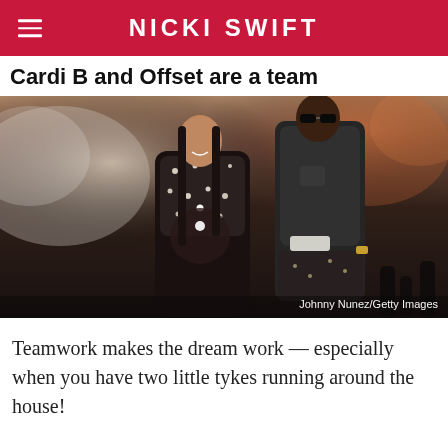NICKI SWIFT
Cardi B and Offset are a team
[Figure (photo): Cardi B and Offset standing together at what appears to be a concert or awards show. Cardi B is wearing a jeweled/rhinestone outfit revealing a pregnant belly, and Offset is wearing a dark shirt with sunglasses.]
Johnny Nunez/Getty Images
Teamwork makes the dream work — especially when you have two little tykes running around the house!